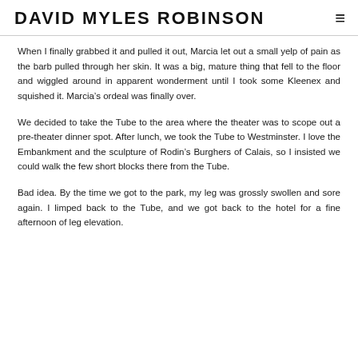DAVID MYLES ROBINSON
When I finally grabbed it and pulled it out, Marcia let out a small yelp of pain as the barb pulled through her skin. It was a big, mature thing that fell to the floor and wiggled around in apparent wonderment until I took some Kleenex and squished it. Marcia’s ordeal was finally over.
We decided to take the Tube to the area where the theater was to scope out a pre-theater dinner spot. After lunch, we took the Tube to Westminster. I love the Embankment and the sculpture of Rodin’s Burghers of Calais, so I insisted we could walk the few short blocks there from the Tube.
Bad idea. By the time we got to the park, my leg was grossly swollen and sore again. I limped back to the Tube, and we got back to the hotel for a fine afternoon of leg elevation.